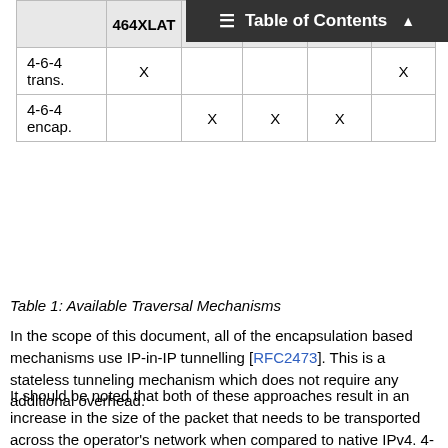|  | 464XLAT | DS-Lite | IW406 | MAP-E | MAP-T |
| --- | --- | --- | --- | --- | --- |
| 4-6-4 trans. | X |  |  |  | X |
| 4-6-4 encap. |  | X | X | X |  |
Table 1: Available Traversal Mechanisms
In the scope of this document, all of the encapsulation based mechanisms use IP-in-IP tunnelling [RFC2473]. This is a stateless tunneling mechanism which does not require any additional overhead.
It should be noted that both of these approaches result in an increase in the size of the packet that needs to be transported across the operator's network when compared to native IPv4. 4-6-4 translation adds a 20-bytes overhead (the 20-byte IPv4 header is replaced with a 40-byte IPv6